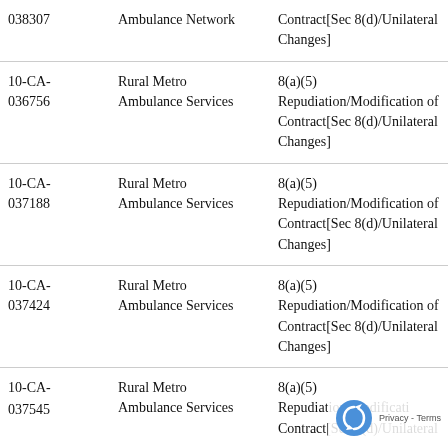| Case Number | Respondent | Allegation |
| --- | --- | --- |
| 038307 | Ambulance Network | Contract[Sec 8(d)/Unilateral Changes] |
| 10-CA-036756 | Rural Metro Ambulance Services | 8(a)(5) Repudiation/Modification of Contract[Sec 8(d)/Unilateral Changes] |
| 10-CA-037188 | Rural Metro Ambulance Services | 8(a)(5) Repudiation/Modification of Contract[Sec 8(d)/Unilateral Changes] |
| 10-CA-037424 | Rural Metro Ambulance Services | 8(a)(5) Repudiation/Modification of Contract[Sec 8(d)/Unilateral Changes] |
| 10-CA-037545 | Rural Metro Ambulance Services | 8(a)(5) Repudiation/Modification of Contract[Sec 8(d)/Unilateral |